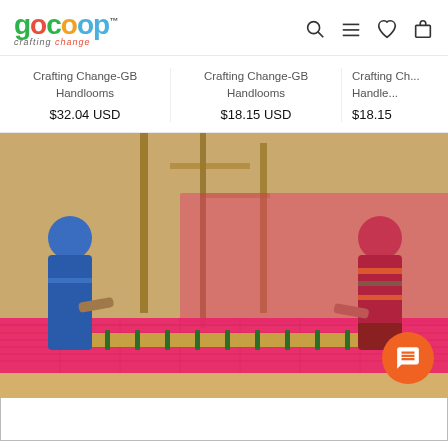GoCoop - crafting change - navigation header with search, menu, wishlist, cart icons
Crafting Change-GB Handlooms
$32.04 USD
Crafting Change-GB Handlooms
$18.15 USD
Crafting Ch... Handle...
$18.15
[Figure (photo): Two women in colorful sarees working with a traditional handloom warping frame on a large pink/magenta fabric spread outdoors]
[Figure (other): Orange circular chat button with chat bubble icon in bottom right corner]